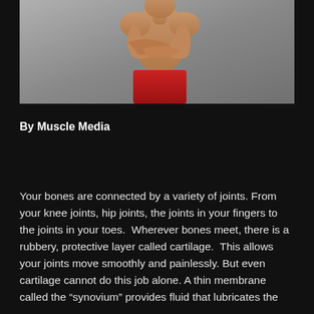[Figure (photo): A muscular shirtless man wearing red shorts, photographed against a grey background, appearing to stretch or pose with arms crossed over his torso.]
By Muscle Media
Your bones are connected by a variety of joints. From your knee joints, hip joints, the joints in your fingers to the joints in your toes.  Wherever bones meet, there is a rubbery, protective layer called cartilage.  This allows your joints move smoothly and painlessly. But even cartilage cannot do this job alone. A thin membrane called the “synovium” provides fluid that lubricates the